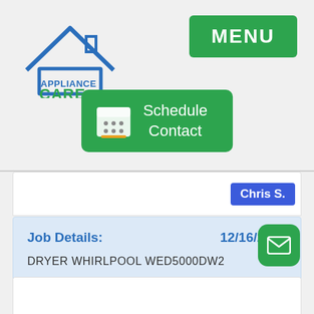[Figure (logo): Appliance Care logo with house icon in blue and green text]
MENU
[Figure (screenshot): Green Schedule Contact button with calendar icon]
Chris S.
Job Details:   12/16/2019
DRYER WHIRLPOOL WED5000DW2
[Figure (screenshot): Green email FAB button with envelope icon]